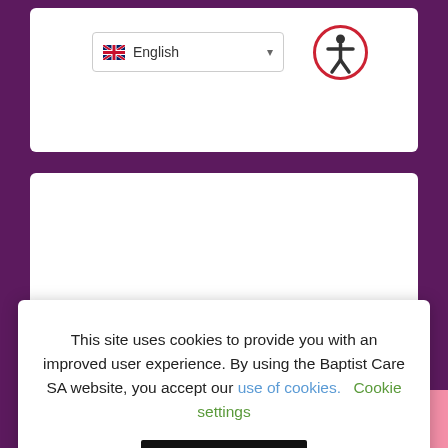[Figure (screenshot): Language selector dropdown showing UK flag and 'English' text with dropdown arrow]
[Figure (logo): Accessibility icon - person in circle with red border on white background]
This site uses cookies to provide you with an improved user experience. By using the Baptist Care SA website, you accept our use of cookies. Cookie settings
ACCEPT
Announcing the winner of the
TOP